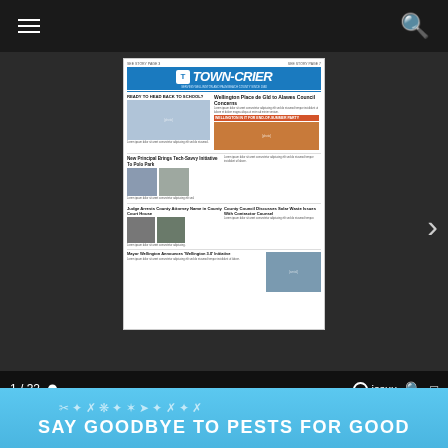[Figure (screenshot): Digital viewer showing Town-Crier newspaper front page (issue 1 of 32) on dark background with navigation controls, progress bar, and Issuu branding]
Next Town-Crier print edition out Aug. 26, 2022.
[Figure (illustration): SAY GOODBYE TO PESTS FOR GOOD advertisement banner with pest control icons on blue background]